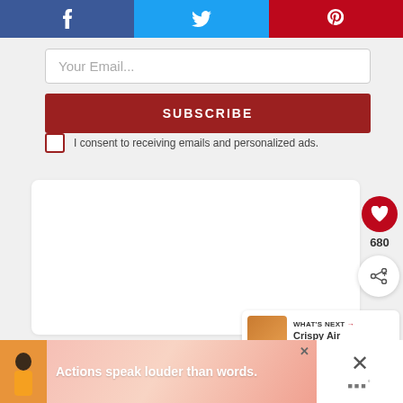[Figure (other): Social sharing bar with Facebook (blue), Twitter (light blue), and Pinterest (red) icons]
Your Email...
SUBSCRIBE
I consent to receiving emails and personalized ads.
[Figure (other): White card area with heart favorite button showing count 680, and share button]
680
[Figure (other): What's Next card with food image and text: WHAT'S NEXT → Crispy Air Fryer Cod]
[Figure (other): Ad banner: Actions speak louder than words. with person figure and close button]